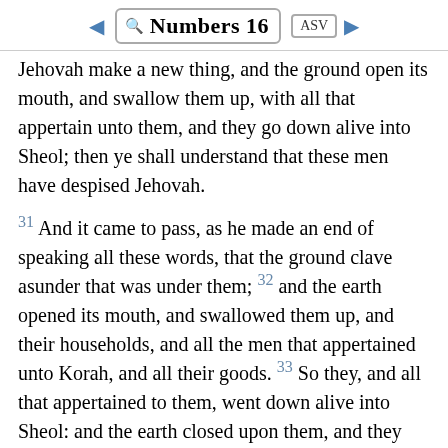Numbers 16 ASV
Jehovah make a new thing, and the ground open its mouth, and swallow them up, with all that appertain unto them, and they go down alive into Sheol; then ye shall understand that these men have despised Jehovah.
31 And it came to pass, as he made an end of speaking all these words, that the ground clave asunder that was under them; 32 and the earth opened its mouth, and swallowed them up, and their households, and all the men that appertained unto Korah, and all their goods. 33 So they, and all that appertained to them, went down alive into Sheol: and the earth closed upon them, and they perished from among the assembly. 34 And all Israel that were round about them fled at the cry of them; for they said, Lest the earth swallow us up. 35 And fire came forth from Jehovah, and devoured the two hundred and fifty men that offered the incense.